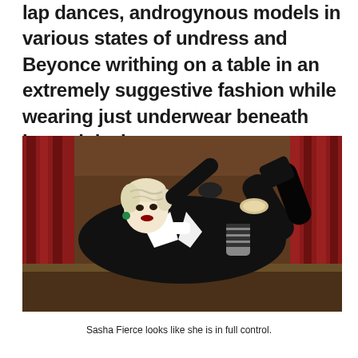lap dances, androgynous models in various states of undress and Beyonce writhing on a table in an extremely suggestive fashion while wearing just underwear beneath her suit jacket.
[Figure (photo): A performer in a black outfit with a large white collar, platinum blonde finger-waved hair, lying on a table in a suggestive pose. Red curtains and wood paneling visible in the background. The person is wearing black boots and striped stockings, holding their legs up.]
Sasha Fierce looks like she is in full control.